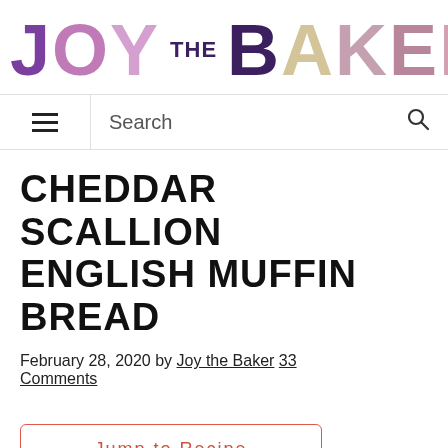[Figure (logo): Joy the Baker logo in large colorful block letters]
Menu | Search
CHEDDAR SCALLION ENGLISH MUFFIN BREAD
February 28, 2020 by Joy the Baker 33 Comments
Jump to Recipe